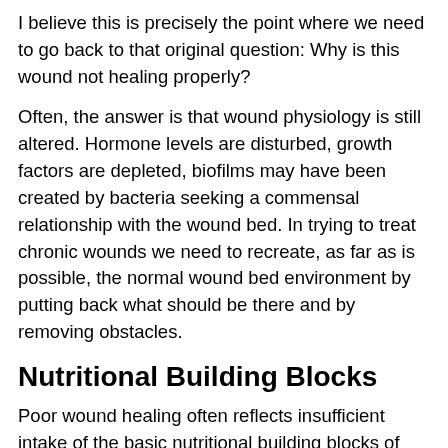I believe this is precisely the point where we need to go back to that original question: Why is this wound not healing properly?
Often, the answer is that wound physiology is still altered. Hormone levels are disturbed, growth factors are depleted, biofilms may have been created by bacteria seeking a commensal relationship with the wound bed. In trying to treat chronic wounds we need to recreate, as far as is possible, the normal wound bed environment by putting back what should be there and by removing obstacles.
Nutritional Building Blocks
Poor wound healing often reflects insufficient intake of the basic nutritional building blocks of healthy tissue. The simplest starting point is to make sure protein and vitamin intake is sufficient. Researchers estimate that most people need 1.85 grams of protein per kilogram body weight (that's